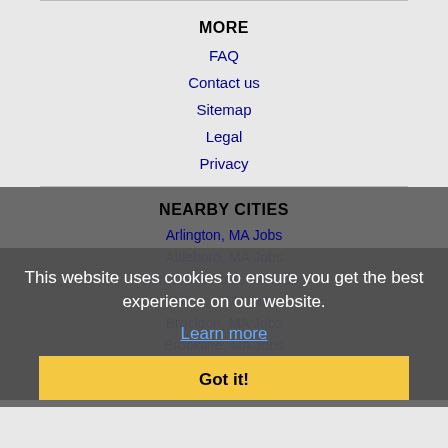MORE
FAQ
Contact us
Sitemap
Legal
Privacy
NEARBY CITIES
Arlington, MA Jobs
Attleboro, MA Jobs
Barnstable Town, MA Jobs
Billerica, MA Jobs
Brockton, MA Jobs
Brookline, MA Jobs
Cambridge, MA Jobs
Chelsea, MA Jobs
This website uses cookies to ensure you get the best experience on our website. Learn more Got it!